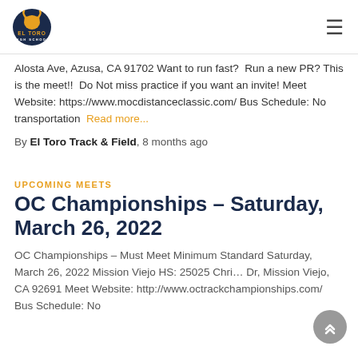El Toro High School
Alosta Ave, Azusa, CA 91702 Want to run fast? Run a new PR? This is the meet!! Do Not miss practice if you want an invite! Meet Website: https://www.mocdistanceclassic.com/ Bus Schedule: No transportation Read more...
By El Toro Track & Field, 8 months ago
UPCOMING MEETS
OC Championships – Saturday, March 26, 2022
OC Championships – Must Meet Minimum Standard Saturday, March 26, 2022 Mission Viejo HS: 25025 Chrisanta Dr, Mission Viejo, CA 92691 Meet Website: http://www.octrackchampionships.com/ Bus Schedule: No